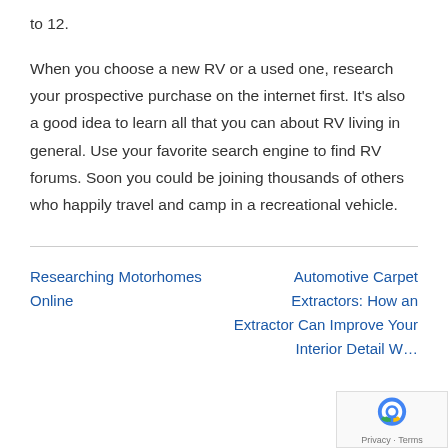to 12.
When you choose a new RV or a used one, research your prospective purchase on the internet first. It’s also a good idea to learn all that you can about RV living in general. Use your favorite search engine to find RV forums. Soon you could be joining thousands of others who happily travel and camp in a recreational vehicle.
Researching Motorhomes Online
Automotive Carpet Extractors: How an Extractor Can Improve Your Interior Detail W…